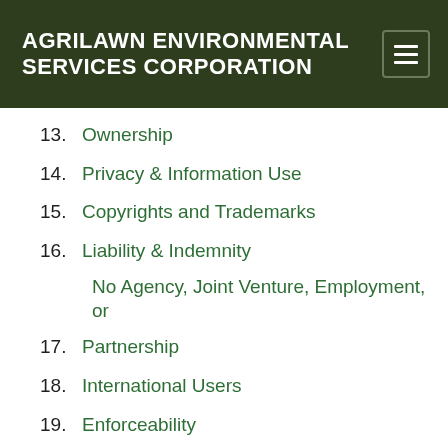AGRILAWN ENVIRONMENTAL SERVICES CORPORATION
13. Ownership
14. Privacy & Information Use
15. Copyrights and Trademarks
16. Liability & Indemnity
No Agency, Joint Venture, Employment, or
17. Partnership
18. International Users
19. Enforceability
20. Entire Agreement and Headings
21. Reservation of Rights
22. Assignment